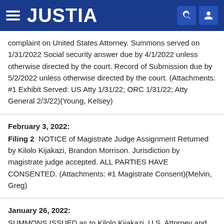JUSTIA
complaint on United States Attorney. Summons served on 1/31/2022 Social security answer due by 4/1/2022 unless otherwise directed by the court. Record of Submission due by 5/2/2022 unless otherwise directed by the court. (Attachments: #1 Exhibit Served: US Atty 1/31/22; ORC 1/31/22; Atty General 2/3/22)(Young, Kelsey)
February 3, 2022:
Filing 2  NOTICE of Magistrate Judge Assignment Returned by Kilolo Kijakazi, Brandon Morrison. Jurisdiction by magistrate judge accepted. ALL PARTIES HAVE CONSENTED. (Attachments: #1 Magistrate Consent)(Melvin, Greg)
January 26, 2022:
SUMMONS ISSUED as to Kilolo Kijakazi, U.S. Attorney and U.S. Attorney General. (Furtak, Rebecca)